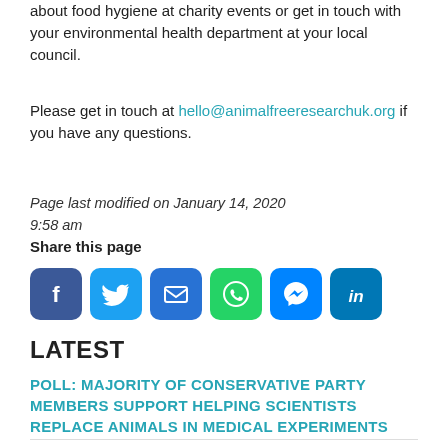about food hygiene at charity events or get in touch with your environmental health department at your local council.
Please get in touch at hello@animalfreeresearchuk.org if you have any questions.
Page last modified on January 14, 2020 9:58 am
Share this page
[Figure (infographic): Social media share buttons: Facebook, Twitter, Email, WhatsApp, Messenger, LinkedIn]
LATEST
POLL: MAJORITY OF CONSERVATIVE PARTY MEMBERS SUPPORT HELPING SCIENTISTS REPLACE ANIMALS IN MEDICAL EXPERIMENTS